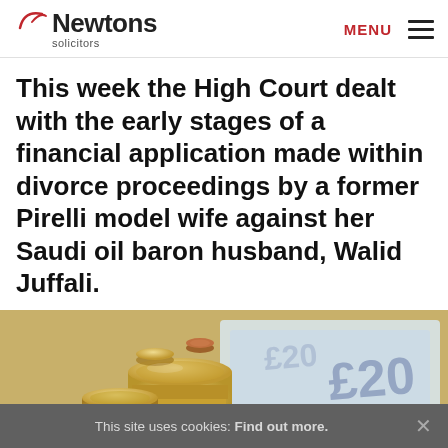Newtons solicitors — MENU
This week the High Court dealt with the early stages of a financial application made within divorce proceedings by a former Pirelli model wife against her Saudi oil baron husband, Walid Juffali.
[Figure (photo): Photo of British pound coins stacked and scattered alongside £20 banknotes, blurred background]
This site uses cookies: Find out more.